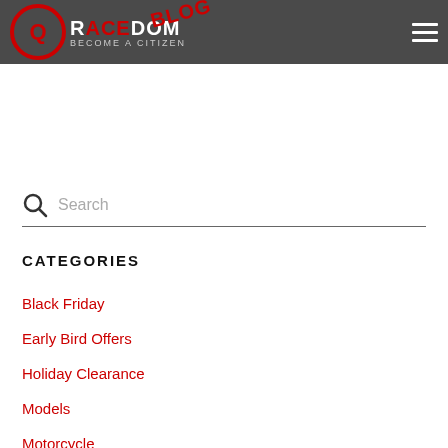Racedom Blog – Become a Citizen | Header with logo and navigation
Racedom wishes you Merry Christmas and Happy New Year
Search
CATEGORIES
Black Friday
Early Bird Offers
Holiday Clearance
Models
Motorcycle